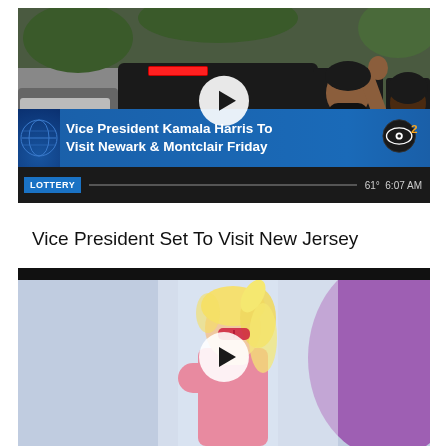[Figure (screenshot): Video thumbnail showing Vice President Kamala Harris waving next to an SUV, wearing a black mask, with a security guard behind her. CBS2 news lower-third chyron reads 'Vice President Kamala Harris To Visit Newark & Montclair Friday'. Ticker bar at bottom shows 'LOTTERY' and '61° 6:07 AM'. A play button icon is centered on the image.]
Vice President Set To Visit New Jersey
[Figure (screenshot): Video thumbnail showing a blonde woman with sunglasses and a pink outfit, with a play button centered on the image. Blurred colorful background.]